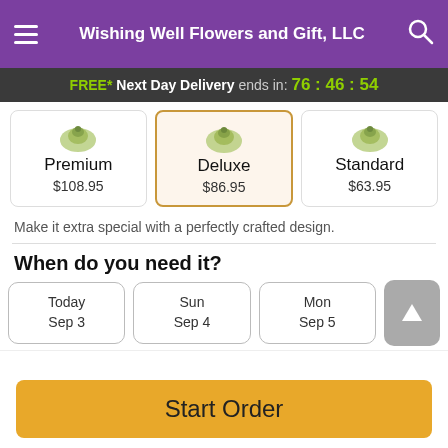Wishing Well Flowers and Gift, LLC
FREE* Next Day Delivery ends in: 76:46:54
| Premium | Deluxe | Standard |
| --- | --- | --- |
| $108.95 | $86.95 | $63.95 |
Make it extra special with a perfectly crafted design.
When do you need it?
Today Sep 3
Sun Sep 4
Mon Sep 5
Start Order